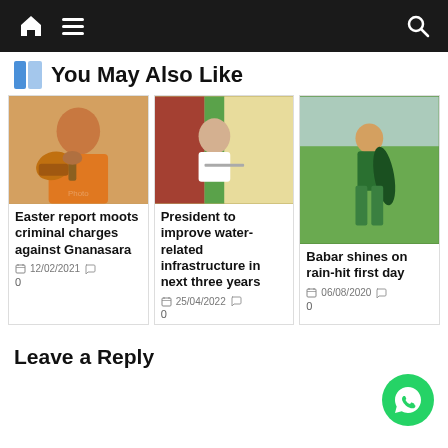Navigation bar with home, menu, and search icons
You May Also Like
[Figure (photo): Buddhist monk in orange robes holding a gavel]
Easter report moots criminal charges against Gnanasara
12/02/2021  0
[Figure (photo): President seated at desk with Sri Lanka flag in background]
President to improve water-related infrastructure in next three years
25/04/2022  0
[Figure (photo): Cricket player in green tracksuit carrying a bag on a grass field]
Babar shines on rain-hit first day
06/08/2020  0
Leave a Reply